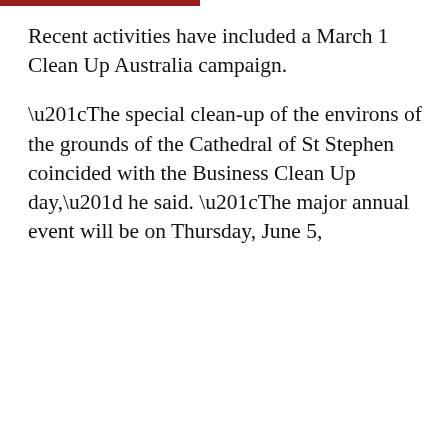Recent activities have included a March 1 Clean Up Australia campaign.

“The special clean-up of the environs of the grounds of the Cathedral of St Stephen coincided with the Business Clean Up day,” he said. “The major annual event will be on Thursday, June 5,
This website stores cookies on your computer. These cookies are used to improve your website experience and provide more personalized services to you, both on this website and through other media. To find out more about the cookies we use, see our Privacy Policy.

If you decline, your information won’t be tracked when you visit this website. A single cookie will be used in your browser to remember your preference not to be tracked.